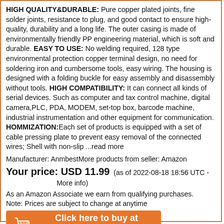HIGH QUALITY&DURABLE: Pure copper plated joints, fine solder joints, resistance to plug, and good contact to ensure high-quality, durability and a long life. The outer casing is made of environmentally friendly PP engineering material, which is soft and durable. EASY TO USE: No welding required, 128 type environmental protection copper terminal design, no need for soldering iron and cumbersome tools, easy wiring. The housing is designed with a folding buckle for easy assembly and disassembly without tools. HIGH COMPATIBILITY: It can connect all kinds of serial devices. Such as computer and tax control machine, digital camera,PLC, PDA, MODEM, set-top box, barcode machine, industrial instrumentation and other equipment for communication. HOMMIZATION:Each set of products is equipped with a set of cable pressing plate to prevent easy removal of the connected wires; Shell with non-slip ...read more
Manufacturer: AnmbestMore products from seller: Amazon
Your price: USD 11.99  (as of 2022-08-18 18:56 UTC - More info)
As an Amazon Associate we earn from qualifying purchases.
Note: Prices are subject to change at anytime
[Figure (other): Orange button with shopping cart icon and text: Click here to buy at Amazon]
[Figure (other): Social media icons: WhatsApp (green), Facebook (blue), Email (grey), Twitter (teal)]